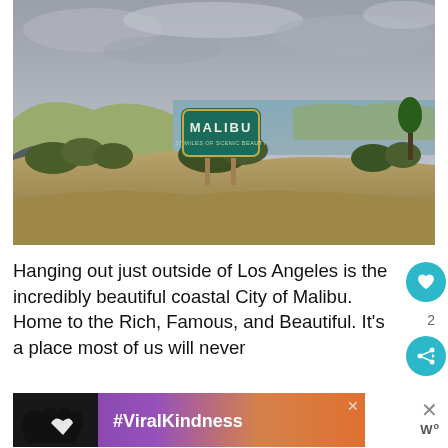[Figure (photo): Outdoor photograph of the Malibu city sign — a teal/green sign reading 'MALIBU 27 MILES OF SCENIC BEAUTY' — set on a dry hillside with brush, a road to the left, and the Pacific Ocean with overcast skies visible in the background.]
Hanging out just outside of Los Angeles is the incredibly beautiful coastal City of Malibu. Home to the Rich, Famous, and Beautiful. It's a place most of us will neve...
[Figure (infographic): Advertisement banner with a purple-to-orange gradient background, showing hands forming a heart shape on the left (dark silhouette) and bold white text '#ViralKindness' on the right. An X close button appears in the upper right of the banner.]